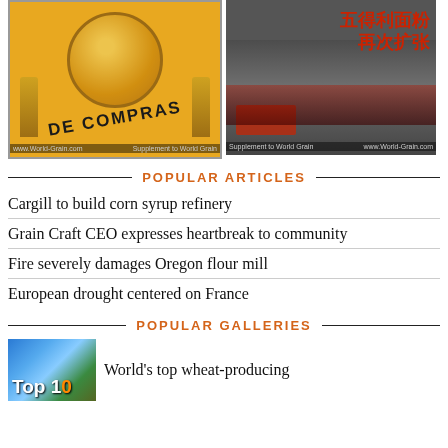[Figure (photo): Magazine cover or page image with golden/orange background, wheat stalks, globe illustration, and text 'DE COMPRAS' in bold curved letters]
[Figure (photo): Chinese newspaper or magazine page with Chinese characters in red: 五得利面粉再次扩张, showing a building/factory scene]
POPULAR ARTICLES
Cargill to build corn syrup refinery
Grain Craft CEO expresses heartbreak to community
Fire severely damages Oregon flour mill
European drought centered on France
POPULAR GALLERIES
[Figure (photo): Thumbnail showing globe/earth from above with Top 10 label overlay]
World's top wheat-producing